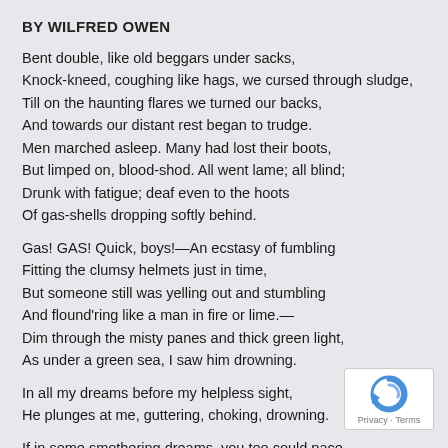BY WILFRED OWEN
Bent double, like old beggars under sacks,
Knock-kneed, coughing like hags, we cursed through sludge,
Till on the haunting flares we turned our backs,
And towards our distant rest began to trudge.
Men marched asleep. Many had lost their boots,
But limped on, blood-shod. All went lame; all blind;
Drunk with fatigue; deaf even to the hoots
Of gas-shells dropping softly behind.
Gas! GAS! Quick, boys!—An ecstasy of fumbling
Fitting the clumsy helmets just in time,
But someone still was yelling out and stumbling
And flound'ring like a man in fire or lime.—
Dim through the misty panes and thick green light,
As under a green sea, I saw him drowning.
In all my dreams before my helpless sight,
He plunges at me, guttering, choking, drowning.
If in some smothering dreams, you too could pace
[Figure (logo): reCAPTCHA logo with Privacy and Terms links]